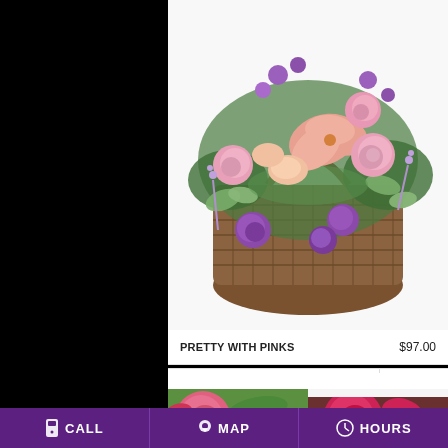[Figure (photo): Floral arrangement in a wicker basket featuring pink roses, purple carnations, lilies, and greenery on a white background — product photo for 'Pretty With Pinks']
PRETTY WITH PINKS    $97.00
BUY NOW
[Figure (other): Purple circle info button with italic 'i']
[Figure (photo): Close-up of pink roses and red/magenta flowers with green leaves — bottom product card image]
CALL   MAP   HOURS